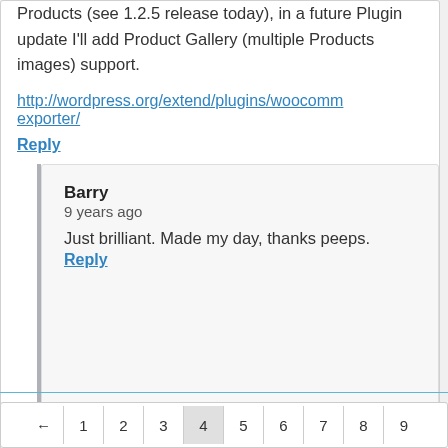Products (see 1.2.5 release today), in a future Plugin update I'll add Product Gallery (multiple Products images) support.
http://wordpress.org/extend/plugins/woocommerce-exporter/
Reply
Barry
9 years ago
Just brilliant. Made my day, thanks peeps.
Reply
← 1 2 3 4 5 6 7 8 9